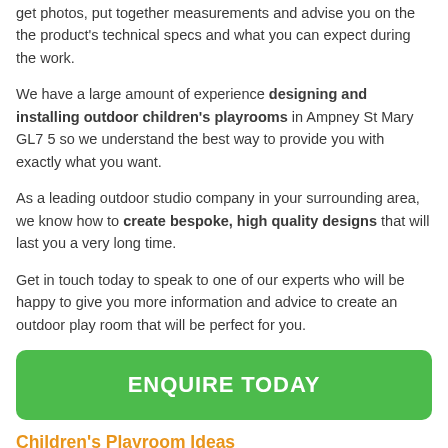get photos, put together measurements and advise you on the the product's technical specs and what you can expect during the work.
We have a large amount of experience designing and installing outdoor children's playrooms in Ampney St Mary GL7 5 so we understand the best way to provide you with exactly what you want.
As a leading outdoor studio company in your surrounding area, we know how to create bespoke, high quality designs that will last you a very long time.
Get in touch today to speak to one of our experts who will be happy to give you more information and advice to create an outdoor play room that will be perfect for you.
ENQUIRE TODAY
Children's Playroom Ideas
There are lots of diverse designs to choose from that can meet